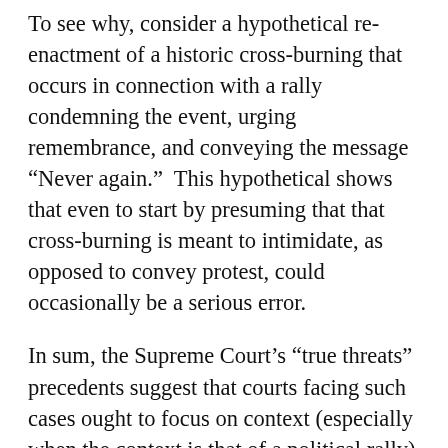To see why, consider a hypothetical re-enactment of a historic cross-burning that occurs in connection with a rally condemning the event, urging remembrance, and conveying the message “Never again.”  This hypothetical shows that even to start by presuming that that cross-burning is meant to intimidate, as opposed to convey protest, could occasionally be a serious error.
In sum, the Supreme Court’s “true threats” precedents suggest that courts facing such cases ought to focus on context (especially when the context is that of a political rally) and precise wording; should consider whether if/then statements are truly threats; and should not presume that the